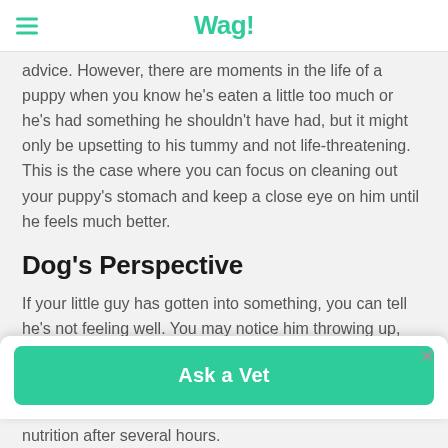Wag!
advice. However, there are moments in the life of a puppy when you know he's eaten a little too much or he's had something he shouldn't have had, but it might only be upsetting to his tummy and not life-threatening. This is the case where you can focus on cleaning out your puppy's stomach and keep a close eye on him until he feels much better.
Dog's Perspective
If your little guy has gotten into something, you can tell he's not feeling well. You may notice him throwing up, gagging,
nutrition after several hours.